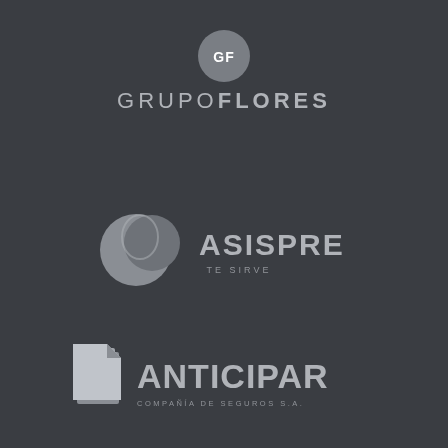[Figure (logo): Grupo Flores logo: circular badge with GF initials above text GRUPOFLORES in grey on dark background]
[Figure (logo): ASISPRE TE SIRVE logo: stylized globe/sphere icon in grey with ASISPRE bold text and TE SIRVE subtitle]
[Figure (logo): ANTICIPAR COMPAÑÍA DE SEGUROS S.A. logo: stacked pages icon with bold ANTICIPAR text and subtitle]